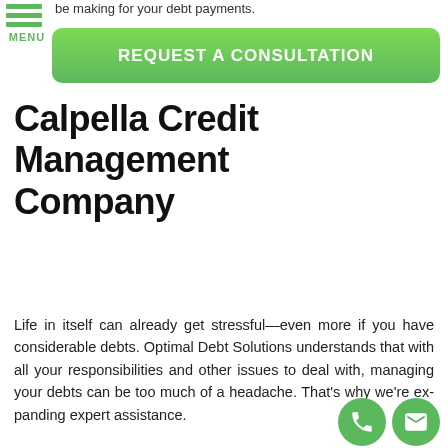be making for your debt payments.
[Figure (other): Green hamburger menu icon with three horizontal lines and MENU label]
[Figure (other): Green button labeled REQUEST A CONSULTATION]
Calpella Credit Management Company
Life in itself can already get stressful—even more if you have considerable debts. Optimal Debt Solutions understands that with all your responsibilities and other issues to deal with, managing your debts can be too much of a headache. That's why we're expanding expert assistance.
[Figure (other): Green circular phone icon (call button)]
[Figure (other): Green circular envelope icon (email button)]